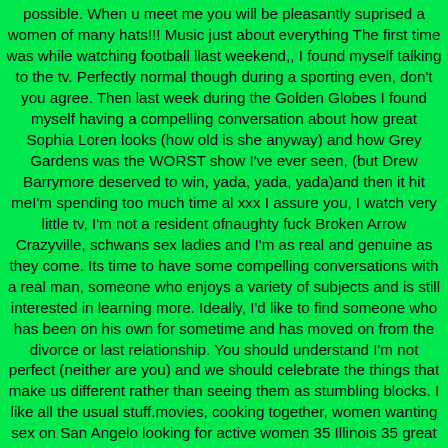possible. When u meet me you will be pleasantly suprised a women of many hats!!! Music just about everything The first time was while watching football llast weekend,, I found myself talking to the tv. Perfectly normal though during a sporting even, don't you agree. Then last week during the Golden Globes I found myself having a compelling conversation about how great Sophia Loren looks (how old is she anyway) and how Grey Gardens was the WORST show I've ever seen, (but Drew Barrymore deserved to win, yada, yada, yada)and then it hit meI'm spending too much time al xxx I assure you, I watch very little tv, I'm not a resident ofnaughty fuck Broken Arrow Crazyville, schwans sex ladies and I'm as real and genuine as they come. Its time to have some compelling conversations with a real man, someone who enjoys a variety of subjects and is still interested in learning more. Ideally, I'd like to find someone who has been on his own for sometime and has moved on from the divorce or last relationship. You should understand I'm not perfect (neither are you) and we should celebrate the things that make us different rather than seeing them as stumbling blocks. I like all the usual stuff.movies, cooking together, women wanting sex on San Angelo looking for active women 35 Illinois 35 great hugs and being outdoors. The resolution to lose weight is going well, and the long walks are paying off (still have a long way to go, so you should understand, I'm not Barbie). I'm planning on